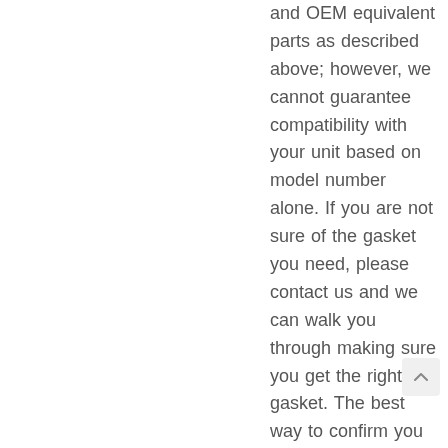and OEM equivalent parts as described above; however, we cannot guarantee compatibility with your unit based on model number alone. If you are not sure of the gasket you need, please contact us and we can walk you through making sure you get the right gasket. The best way to confirm you are ordering the right gasket is to confirm the size of the gasket you need as well the profile of the gasket you need. (Our